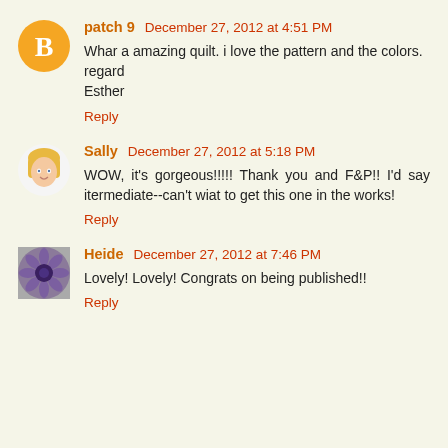[Figure (illustration): Blogger generic orange circle avatar with white 'B' icon]
patch 9  December 27, 2012 at 4:51 PM
Whar a amazing quilt. i love the pattern and the colors.
regard
Esther
Reply
[Figure (illustration): Sally avatar: illustrated face of a blonde woman]
Sally  December 27, 2012 at 5:18 PM
WOW, it's gorgeous!!!!!  Thank you and F&P!!  I'd say itermediate--can't wiat to get this one in the works!
Reply
[Figure (illustration): Heide avatar: photo of a purple flower/daisy]
Heide  December 27, 2012 at 7:46 PM
Lovely! Lovely! Congrats on being published!!
Reply